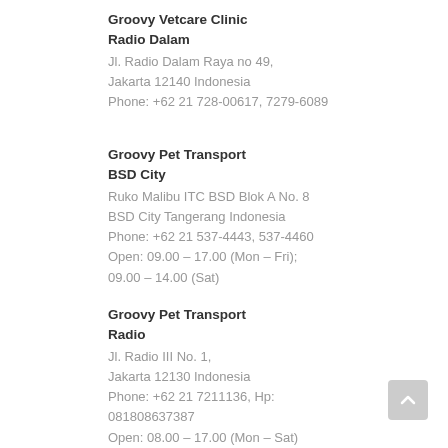Groovy Vetcare Clinic
Radio Dalam
Jl. Radio Dalam Raya no 49,
Jakarta 12140 Indonesia
Phone: +62 21 728-00617, 7279-6089
Groovy Pet Transport
BSD City
Ruko Malibu ITC BSD Blok A No. 8
BSD City Tangerang Indonesia
Phone: +62 21 537-4443, 537-4460
Open: 09.00 – 17.00 (Mon – Fri);
09.00 – 14.00 (Sat)
Groovy Pet Transport
Radio
Jl. Radio III No. 1,
Jakarta 12130 Indonesia
Phone: +62 21 7211136, Hp:
081808637387
Open: 08.00 – 17.00 (Mon – Sat)